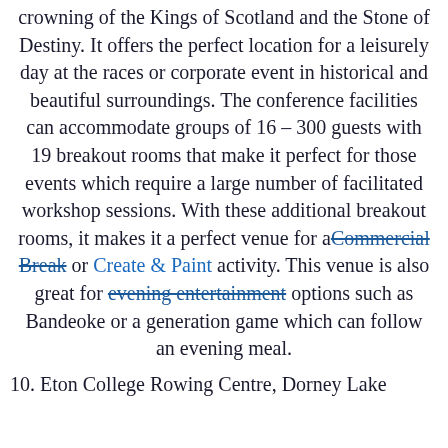crowning of the Kings of Scotland and the Stone of Destiny. It offers the perfect location for a leisurely day at the races or corporate event in historical and beautiful surroundings. The conference facilities can accommodate groups of 16 – 300 guests with 19 breakout rooms that make it perfect for those events which require a large number of facilitated workshop sessions. With these additional breakout rooms, it makes it a perfect venue for a[Commercial Break] or [Create & Paint] activity. This venue is also great for [evening entertainment] options such as Bandeoke or a generation game which can follow an evening meal.
10. Eton College Rowing Centre, Dorney Lake